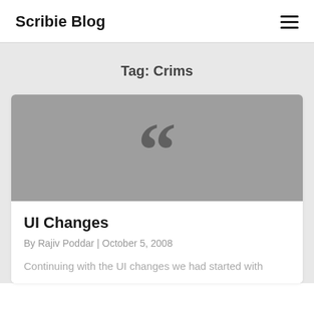Scribie Blog
Tag: Crims
[Figure (illustration): Gray rectangle with a large dark gray open quotation mark (“) symbol centered in it, serving as a placeholder blog post thumbnail image.]
UI Changes
By Rajiv Poddar | October 5, 2008
Continuing with the UI changes we had started with